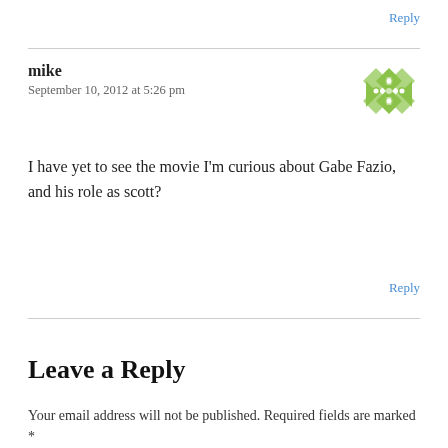Reply
mike
September 10, 2012 at 5:26 pm
[Figure (illustration): Green decorative avatar icon with geometric diamond/cross pattern]
I have yet to see the movie I'm curious about Gabe Fazio, and his role as scott?
Reply
Leave a Reply
Your email address will not be published. Required fields are marked *